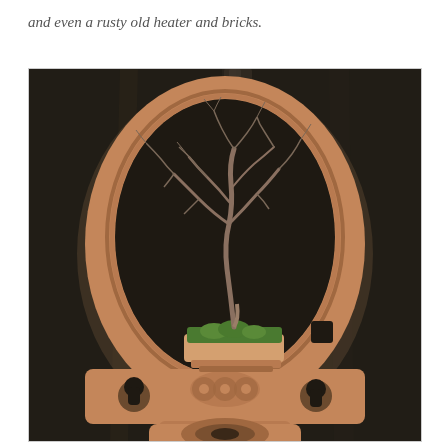and even a rusty old heater and bricks.
[Figure (photo): A bonsai tree with bare winter branches planted in a shallow rectangular pot with green moss, displayed inside an oval terracotta heater frame with decorative carvings. The frame has cutouts and carved eye-like motifs at the bottom, set against a dark curtain background.]